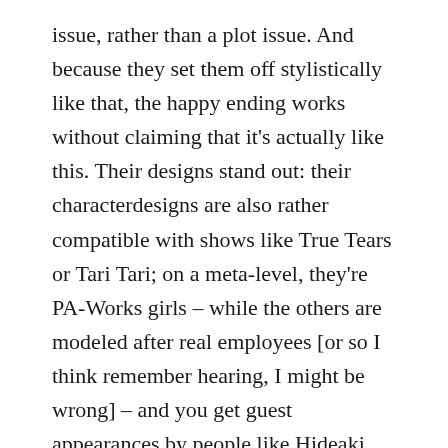issue, rather than a plot issue. And because they set them off stylistically like that, the happy ending works without claiming that it's actually like this. Their designs stand out: their characterdesigns are also rather compatible with shows like True Tears or Tari Tari; on a meta-level, they're PA-Works girls – while the others are modeled after real employees [or so I think remember hearing, I might be wrong] – and you get guest appearances by people like Hideaki Anno, for example. And because their designs stand out, they feel a little more fictional: the story focus – the spy girls, the plane girls, the anime-making girls. And because of that, I didn't actually mind the ending (If I had minded the happy ending